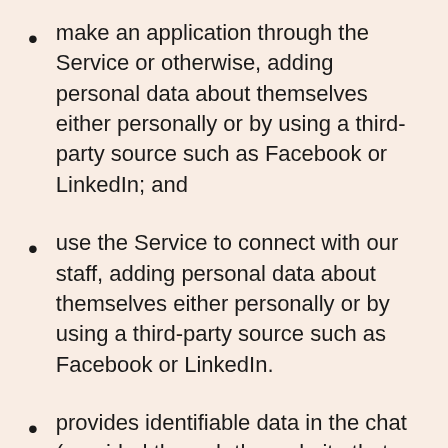make an application through the Service or otherwise, adding personal data about themselves either personally or by using a third-party source such as Facebook or LinkedIn; and
use the Service to connect with our staff, adding personal data about themselves either personally or by using a third-party source such as Facebook or LinkedIn.
provides identifiable data in the chat (provided through the website that